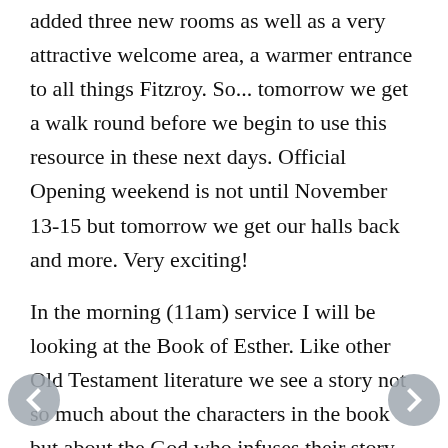added three new rooms as well as a very attractive welcome area, a warmer entrance to all things Fitzroy. So... tomorrow we get a walk round before we begin to use this resource in these next days. Official Opening weekend is not until November 13-15 but tomorrow we get our halls back and more. Very exciting!
In the morning (11am) service I will be looking at the Book of Esther. Like other Old Testament literature we see a story not so much about the characters in the book but about the God who infuses their story. This is the book in the Bible where God is not mentioned by name yet it is a book more about God than Esther! We will be looking at a God who is subtle... to be obvious! A God who is not...